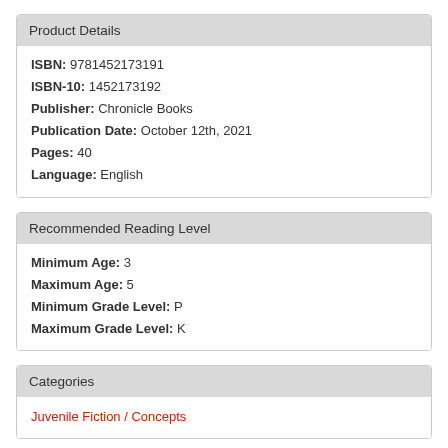Product Details
ISBN: 9781452173191
ISBN-10: 1452173192
Publisher: Chronicle Books
Publication Date: October 12th, 2021
Pages: 40
Language: English
Recommended Reading Level
Minimum Age: 3
Maximum Age: 5
Minimum Grade Level: P
Maximum Grade Level: K
Categories
Juvenile Fiction / Concepts